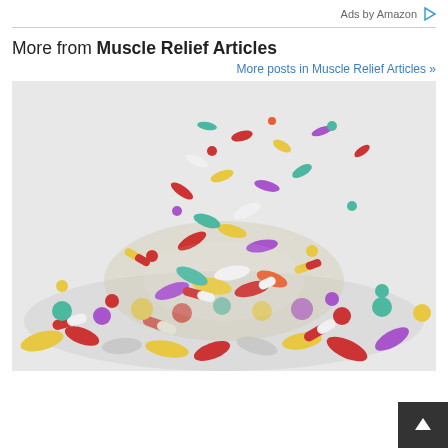Ads by Amazon
More from Muscle Relief Articles
More posts in Muscle Relief Articles »
[Figure (photo): A large colorful pile of mixed pills, capsules, and tablets of various colors (red, yellow, green, purple, white, teal, orange, pink) scattered and falling on a white surface.]